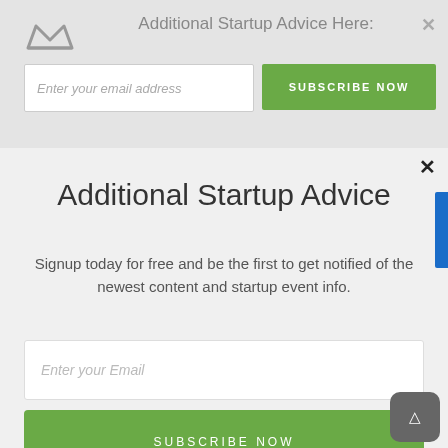Additional Startup Advice Here:
[Figure (screenshot): Email subscription banner with crown logo, email input field, and green SUBSCRIBE NOW button with a close X]
Additional Startup Advice
Signup today for free and be the first to get notified of the newest content and startup event info.
[Figure (screenshot): Email input field placeholder: Enter your Email]
[Figure (screenshot): Green SUBSCRIBE NOW button]
[Figure (logo): POWERED BY SUMO badge with crown logo]
ABOUT US
The Startup Magazine is an online business magazine with a